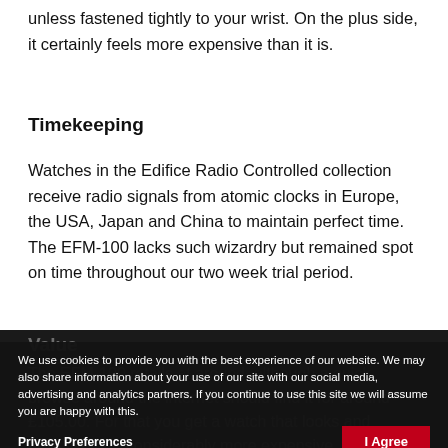unless fastened tightly to your wrist. On the plus side, it certainly feels more expensive than it is.
Timekeeping
Watches in the Edifice Radio Controlled collection receive radio signals from atomic clocks in Europe, the USA, Japan and China to maintain perfect time. The EFM-100 lacks such wizardry but remained spot on time throughout our two week trial period.
Value
The EFM-100 retails at around, although a quick browse around the internet should find it for around £105.00. For that you get a watch that looks and feels like one considerably more expensive.
We use cookies to provide you with the best experience of our website. We may also share information about your use of our site with our social media, advertising and analytics partners. If you continue to use this site we will assume you are happy with this.
Privacy Preferences
I Agree